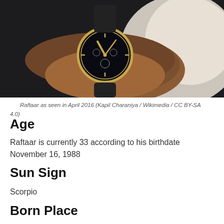[Figure (photo): Photo of Raftaar showing a wrist with a gold and black luxury watch, partial view of person wearing white shirt, dark background]
Raftaar as seen in April 2016 (Kapil Charaniya / Wikimedia / CC BY-SA 4.0)
Age
Raftaar is currently 33 according to his birthdate November 16, 1988
Sun Sign
Scorpio
Born Place
This person was born in Kandy, India...